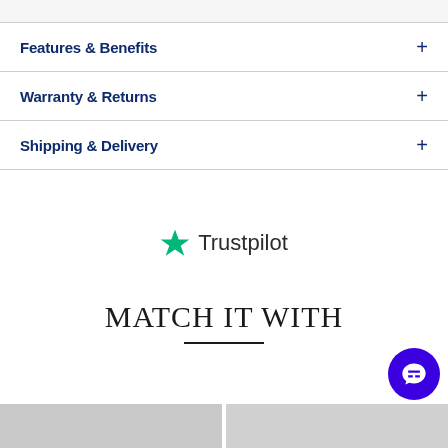Features & Benefits
Warranty & Returns
Shipping & Delivery
[Figure (logo): Trustpilot logo with green star and 'Trustpilot' text]
MATCH IT WITH